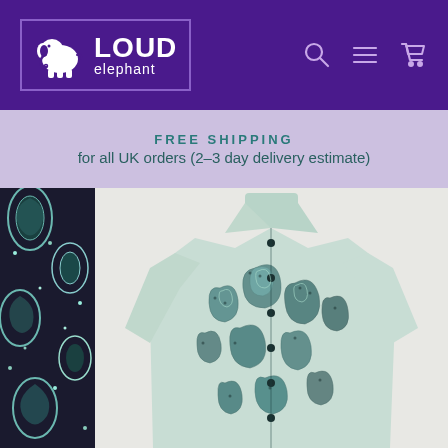Loud Elephant - website header with logo, search, menu, and cart icons
FREE SHIPPING
for all UK orders (2–3 day delivery estimate)
[Figure (photo): Left strip showing close-up detail of a dark paisley patterned fabric with teal/light blue motifs on black background]
[Figure (photo): Main product photo of a short-sleeve button-up shirt displayed on a headless mannequin. The shirt features a teal/dark paisley swirl pattern on a light background with dark dots and floral motifs, button-front closure.]